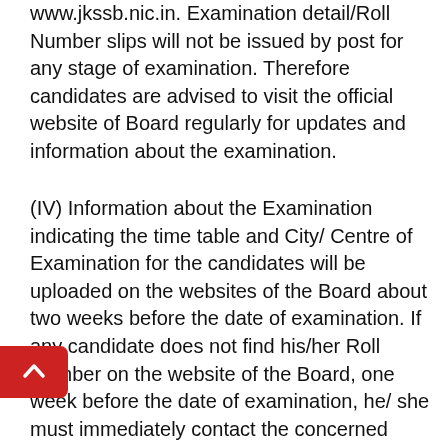www.jkssb.nic.in. Examination detail/Roll Number slips will not be issued by post for any stage of examination. Therefore candidates are advised to visit the official website of Board regularly for updates and information about the examination.
(IV) Information about the Examination indicating the time table and City/ Centre of Examination for the candidates will be uploaded on the websites of the Board about two weeks before the date of examination. If any candidate does not find his/her Roll Number on the website of the Board, one week before the date of examination, he/ she must immediately contact the concerned Divisional Office of the J&K Services Selection